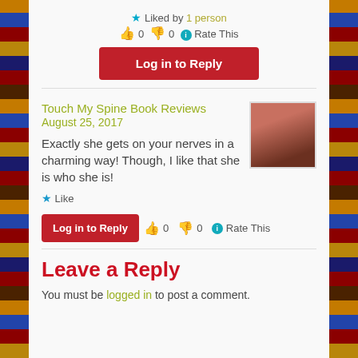★ Liked by 1 person
👍 0 👎 0 ℹ Rate This
Log in to Reply
Touch My Spine Book Reviews
August 25, 2017
Exactly she gets on your nerves in a charming way! Though, I like that she is who she is!
★ Like
Log in to Reply  👍 0 👎 0 ℹ Rate This
Leave a Reply
You must be logged in to post a comment.